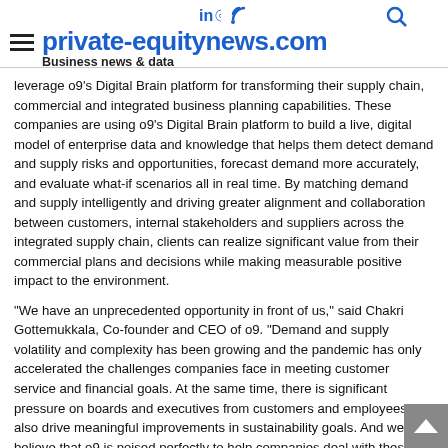private-equitynews.com — Business news & data
leverage o9's Digital Brain platform for transforming their supply chain, commercial and integrated business planning capabilities. These companies are using o9's Digital Brain platform to build a live, digital model of enterprise data and knowledge that helps them detect demand and supply risks and opportunities, forecast demand more accurately, and evaluate what-if scenarios all in real time. By matching demand and supply intelligently and driving greater alignment and collaboration between customers, internal stakeholders and suppliers across the integrated supply chain, clients can realize significant value from their commercial plans and decisions while making measurable positive impact to the environment.
“We have an unprecedented opportunity in front of us,” said Chakri Gottemukkala, Co-founder and CEO of o9. “Demand and supply volatility and complexity has been growing and the pandemic has only accelerated the challenges companies face in meeting customer service and financial goals. At the same time, there is significant pressure on boards and executives from customers and employees to also drive meaningful improvements in sustainability goals. And we believe that o9 is poised perfectly to help companies deal with these mega trends with a differentiated, proven platform.
Executives are increasingly seeing that transforming planning and decision-making capabilities need to be more agile, and integration the most mission critical, high-value initiative going forward. And